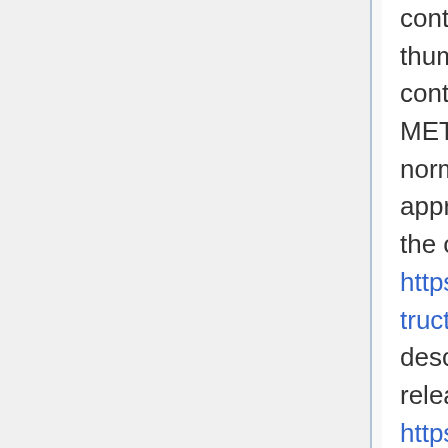contains your objects for preservation, logs, thumbnails and the METS xml. That data folder will contain your originals and normalized files, and the METS will include PREMIS events with "manual normalization" noted in the eventDetail of the appropriate normalization events. A discussion of the overall AIP structure can be found here: https://www.archivematica.org/wiki/AIP_structure (Note that this was the 0.9-beta description and will change a bit for the next release: see related task at https://projects.artefactual.com/issues/4597)
Additionally, you might note that the manualNormalization folder and subfolders used during the manual normalization workflow have been deleted once normalization was